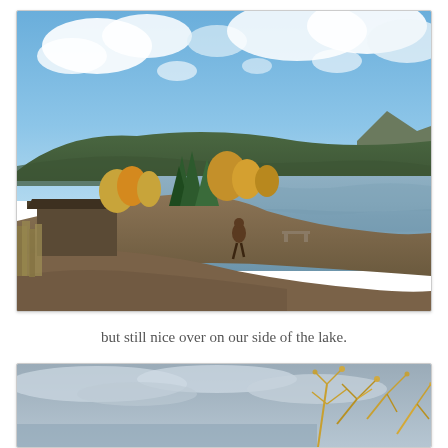[Figure (photo): Outdoor lakeside scene: a person walking along a gravel/dirt shoreline path. A wooden structure/shed is on the left, surrounded by autumn-colored trees (yellow, orange, green). A large calm lake occupies the right half of the image. Mountains and forested hills rise in the background beneath a partly cloudy blue sky.]
but still nice over on our side of the lake.
[Figure (photo): Partial view of an outdoor scene showing a grey cloudy sky and bare golden/yellow branches of trees or shrubs in the foreground, with calm water visible in the background. The image is cropped at the bottom of the page.]